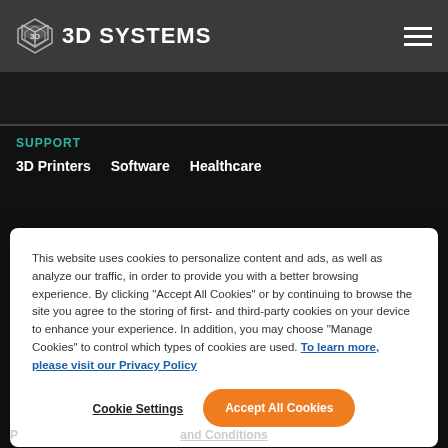3D SYSTEMS
SUPPORT
3D Printers   Software   Healthcare
This website uses cookies to personalize content and ads, as well as analyze our traffic, in order to provide you with a better browsing experience. By clicking "Accept All Cookies" or by continuing to browse the site you agree to the storing of first- and third-party cookies on your device to enhance your experience. In addition, you may choose "Manage Cookies" to control which types of cookies are used. To learn more, please visit our Privacy Policy
Cookie Settings   Accept All Cookies
and Conditions